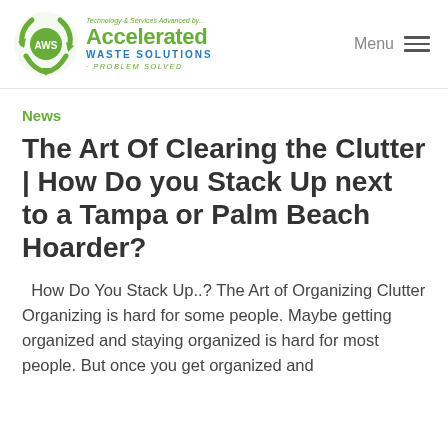Accelerated Waste Solutions — Menu
News
The Art Of Clearing the Clutter | How Do you Stack Up next to a Tampa or Palm Beach Hoarder?
How Do You Stack Up..? The Art of Organizing Clutter Organizing is hard for some people. Maybe getting organized and staying organized is hard for most people. But once you get organized and